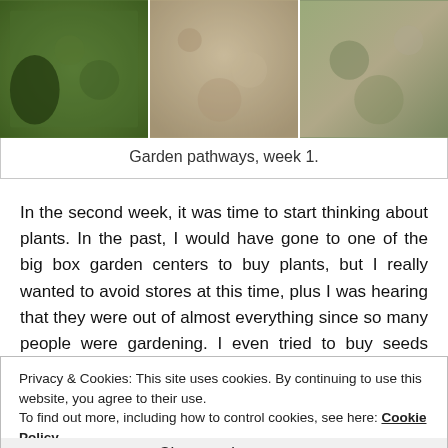[Figure (photo): Three side-by-side photos of garden pathways showing grass/soil ground cover at week 1]
Garden pathways, week 1.
In the second week, it was time to start thinking about plants. In the past, I would have gone to one of the big box garden centers to buy plants, but I really wanted to avoid stores at this time, plus I was hearing that they were out of almost everything since so many people were gardening. I even tried to buy seeds online, but there really wasn't much available.
Privacy & Cookies: This site uses cookies. By continuing to use this website, you agree to their use.
To find out more, including how to control cookies, see here: Cookie Policy
Close and accept
and pick up a few days later. With the plants placed in the